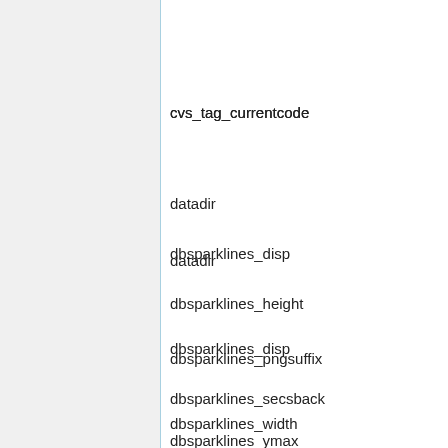cvs_tag_currentcode
datadir
dbsparklines_disp
dbsparklines_height
dbsparklines_pngsuffix
dbsparklines_secsback
dbsparklines_width
dbsparklines_ymax
dbsparklines_ymin
dbs_reader_adjust_delay